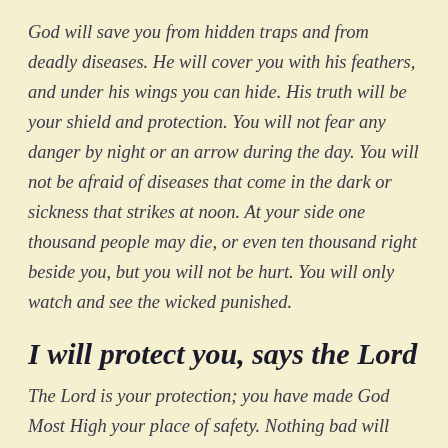God will save you from hidden traps and from deadly diseases. He will cover you with his feathers, and under his wings you can hide. His truth will be your shield and protection. You will not fear any danger by night or an arrow during the day. You will not be afraid of diseases that come in the dark or sickness that strikes at noon. At your side one thousand people may die, or even ten thousand right beside you, but you will not be hurt. You will only watch and see the wicked punished.
I will protect you, says the Lord
The Lord is your protection; you have made God Most High your place of safety. Nothing bad will happen to you; no